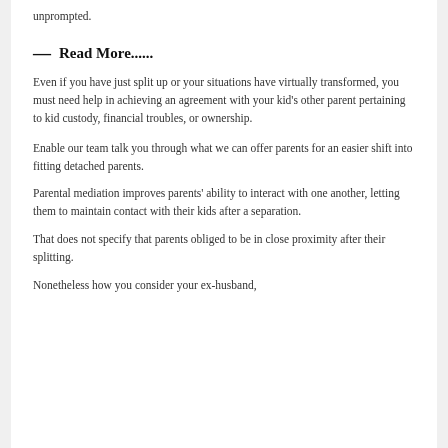unprompted.
— Read More......
Even if you have just split up or your situations have virtually transformed, you must need help in achieving an agreement with your kid's other parent pertaining to kid custody, financial troubles, or ownership.
Enable our team talk you through what we can offer parents for an easier shift into fitting detached parents.
Parental mediation improves parents' ability to interact with one another, letting them to maintain contact with their kids after a separation.
That does not specify that parents obliged to be in close proximity after their splitting.
Nonetheless how you consider your ex-husband,